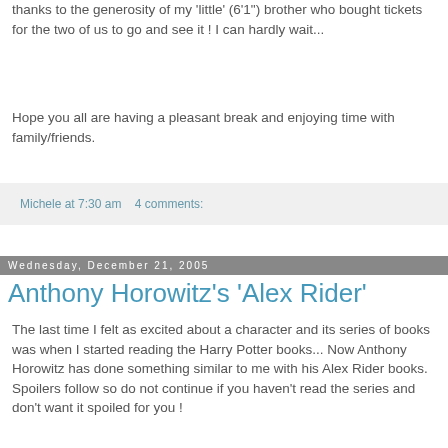thanks to the generosity of my 'little' (6'1") brother who bought tickets for the two of us to go and see it ! I can hardly wait...
Hope you all are having a pleasant break and enjoying time with family/friends.
Michele at 7:30 am   4 comments:
Wednesday, December 21, 2005
Anthony Horowitz's 'Alex Rider'
The last time I felt as excited about a character and its series of books was when I started reading the Harry Potter books... Now Anthony Horowitz has done something similar to me with his Alex Rider books. Spoilers follow so do not continue if you haven't read the series and don't want it spoiled for you !